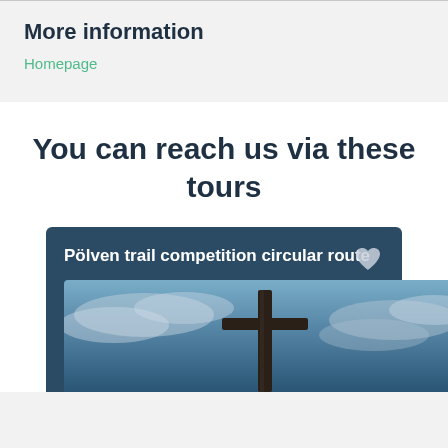More information
Homepage
You can reach us via these tours
Pölven trail competition circular route
[Figure (photo): A wooden cross silhouetted against a dramatic cloudy blue sky]